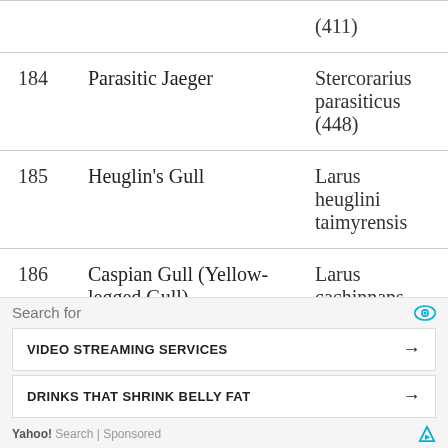| # | Common Name | Scientific Name |
| --- | --- | --- |
|  |  | (411) |
| 184 | Parasitic Jaeger | Stercorarius parasiticus (448) |
| 185 | Heuglin's Gull | Larus heuglini taimyrensis |
| 186 | Caspian Gull (Yellow-legged Gull) | Larus cachinnans (451) |
| 187 | Great Black-headed Gull | Larus ichthyaetus (453) |
| 188 | Slender-billed Gull (partial) | L... (45...) |
[Figure (screenshot): Yahoo Search sponsored ad overlay with 'Search for' header, two ad buttons: 'VIDEO STREAMING SERVICES' and 'DRINKS THAT SHRINK BELLY FAT', and Yahoo! Search | Sponsored footer]